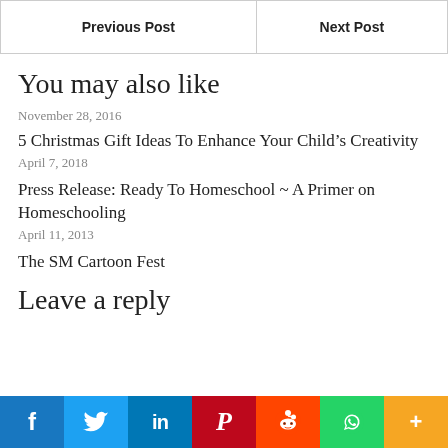| Previous Post | Next Post |
| --- | --- |
You may also like
November 28, 2016
5 Christmas Gift Ideas To Enhance Your Child's Creativity
April 7, 2018
Press Release: Ready To Homeschool ~ A Primer on Homeschooling
April 11, 2013
The SM Cartoon Fest
Leave a reply
[Figure (other): Social sharing bar with Facebook, Twitter, LinkedIn, Pinterest, Reddit, WhatsApp, and More buttons]